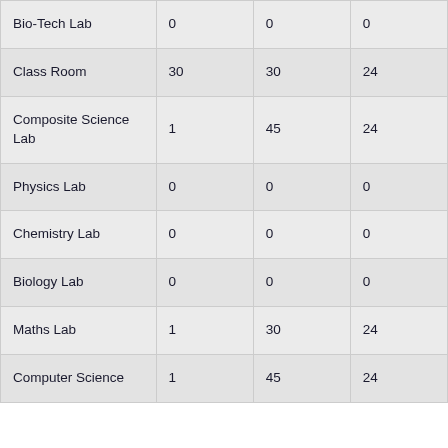| Bio-Tech Lab | 0 | 0 | 0 |
| Class Room | 30 | 30 | 24 |
| Composite Science Lab | 1 | 45 | 24 |
| Physics Lab | 0 | 0 | 0 |
| Chemistry Lab | 0 | 0 | 0 |
| Biology Lab | 0 | 0 | 0 |
| Maths Lab | 1 | 30 | 24 |
| Computer Science | 1 | 45 | 24 |